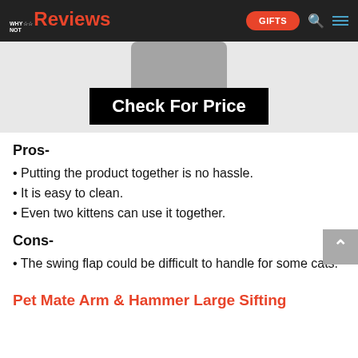WHY NOT Reviews | GIFTS
[Figure (photo): Partial view of a gray cat litter box product against white/gray background]
[Figure (other): Black banner with white bold text reading 'Check For Price']
Pros-
Putting the product together is no hassle.
It is easy to clean.
Even two kittens can use it together.
Cons-
The swing flap could be difficult to handle for some cats.
Pet Mate Arm & Hammer Large Sifting